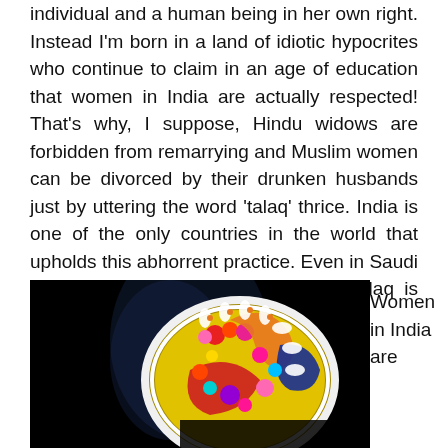individual and a human being in her own right. Instead I'm born in a land of idiotic hypocrites who continue to claim in an age of education that women in India are actually respected! That's why, I suppose, Hindu widows are forbidden from remarrying and Muslim women can be divorced by their drunken husbands just by uttering the word 'talaq' thrice. India is one of the only countries in the world that upholds this abhorrent practice. Even in Saudi Arabia, that bastion of Islam, triple talaq is illegal.
[Figure (photo): A decorative Indian jewelry piece (bangle or ornament) with colorful gems and intricate patterns against a dark background with soft blue smoke/light.]
Women in India are